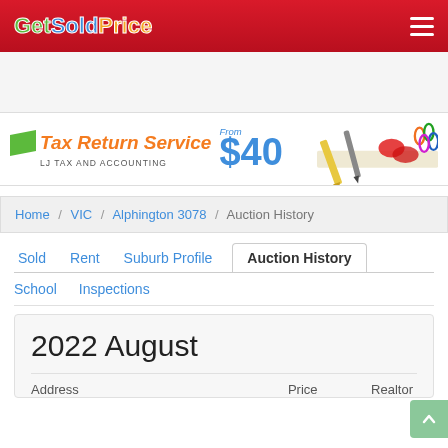Get Sold Price
[Figure (illustration): Tax Return Service advertisement banner: 'Tax Return Service From $40 - LJ TAX AND ACCOUNTING' with office supplies image]
Home / VIC / Alphington 3078 / Auction History
Sold   Rent   Suburb Profile   Auction History
School   Inspections
2022 August
Address   Price   Realtor